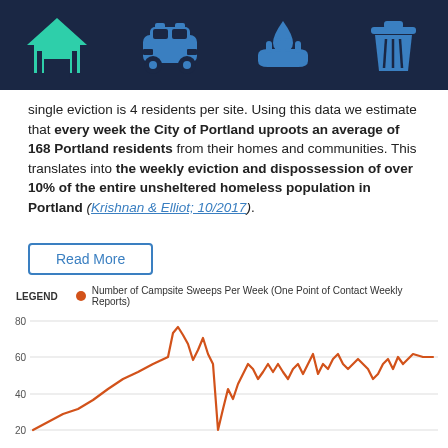[Figure (illustration): Dark navy header bar with four icons: a green house/shelter icon, a blue police car icon, a blue water drop hand icon, and a blue trash can icon]
single eviction is 4 residents per site. Using this data we estimate that every week the City of Portland uproots an average of 168 Portland residents from their homes and communities. This translates into the weekly eviction and dispossession of over 10% of the entire unsheltered homeless population in Portland (Krishnan & Elliot; 10/2017).
Read More
[Figure (line-chart): Line chart showing number of campsite sweeps per week over time, values ranging from about 20 to 75, generally trending upward from lower values on the left to higher values on the right with significant volatility]